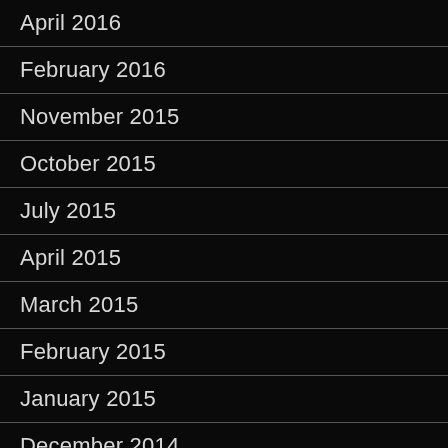April 2016
February 2016
November 2015
October 2015
July 2015
April 2015
March 2015
February 2015
January 2015
December 2014
November 2014
October 2014
August 2014